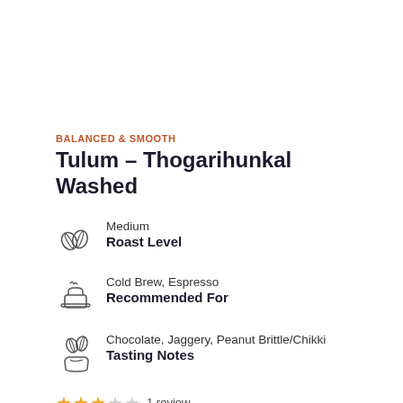BALANCED & SMOOTH
Tulum – Thogarihunkal Washed
Medium
Roast Level
Cold Brew, Espresso
Recommended For
Chocolate, Jaggery, Peanut Brittle/Chikki
Tasting Notes
★★★☆☆ 1 review
INR 490.00